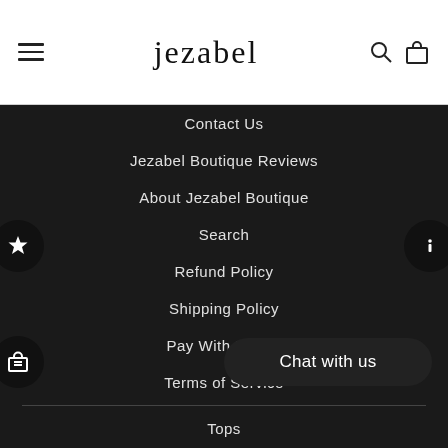jezabel
Contact Us
Jezabel Boutique Reviews
About Jezabel Boutique
Search
Refund Policy
Shipping Policy
Pay With Klarna
Terms of Service
Tops
Jeans & Trousers
Chat with us